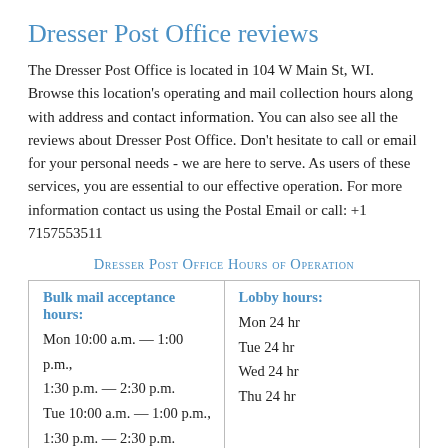Dresser Post Office reviews
The Dresser Post Office is located in 104 W Main St, WI. Browse this location's operating and mail collection hours along with address and contact information. You can also see all the reviews about Dresser Post Office. Don't hesitate to call or email for your personal needs - we are here to serve. As users of these services, you are essential to our effective operation. For more information contact us using the Postal Email or call: +1 7157553511
Dresser Post Office Hours of Operation
| Bulk mail acceptance hours: | Lobby hours: |
| --- | --- |
| Mon 10:00 a.m. — 1:00 p.m., 1:30 p.m. — 2:30 p.m. | Mon 24 hr |
| Tue 10:00 a.m. — 1:00 p.m., 1:30 p.m. — 2:30 p.m. | Tue 24 hr |
|  | Wed 24 hr |
|  | Thu 24 hr |